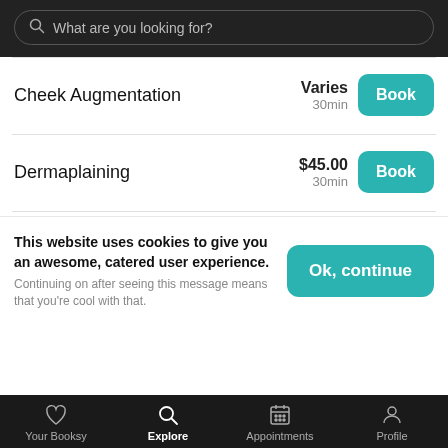[Figure (screenshot): Mobile app search bar with dark background, showing a search box with placeholder text 'What are you looking for?']
Cheek Augmentation — Varies, 30min
Dermaplaining — $45.00, 30min
This website uses cookies to give you an awesome, catered user experience. Continuing on after seeing this message means that you're cool with that.
Your Booksy  Explore  Appointments  Profile